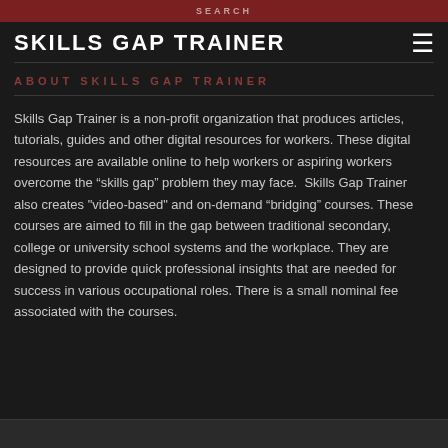SEARCH
SKILLS GAP TRAINER
ABOUT SKILLS GAP TRAINER
Skills Gap Trainer is a non-profit organization that produces articles, tutorials, guides and other digital resources for workers. These digital resources are available online to help workers or aspiring workers overcome the “skills gap” problem they may face.  Skills Gap Trainer also creates "video-based" and on-demand “bridging” courses. These courses are aimed to fill in the gap between traditional secondary, college or university school systems and the workplace. They are designed to provide quick professional insights that are needed for success in various occupational roles. There is a small nominal fee associated with the courses.